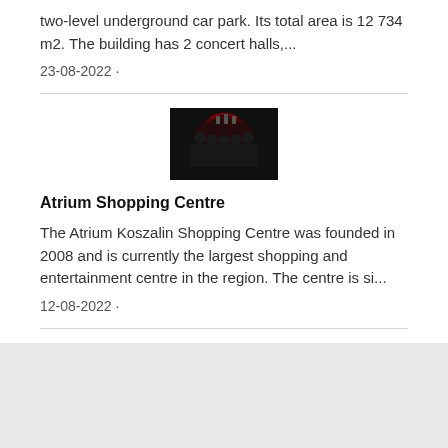two-level underground car park. Its total area is 12 734 m2. The building has 2 concert halls,...
23-08-2022 ·
[Figure (photo): Dark concert/band photo with group of people in dark clothing against a dark red background]
Atrium Shopping Centre
The Atrium Koszalin Shopping Centre was founded in 2008 and is currently the largest shopping and entertainment centre in the region. The centre is si...
12-08-2022 ·